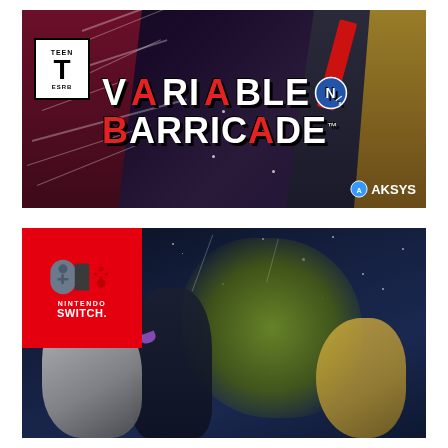[Figure (illustration): Variable Barricade NS game cover art. Anime-style characters on dark dynamic background with diagonal slash effects. ESRB Teen rating box in lower left. Large stylized title 'VARIABLE NS BARRICADE' in white with red accent letters. Aksys publisher logo in bottom right corner.]
[Figure (illustration): Nintendo Switch game case cover art. Red Nintendo Switch logo box in upper left. Dark blue night-sky background with anime-style characters featuring long flowing hair including a prominent green-haired character. Multiple characters posed dramatically.]